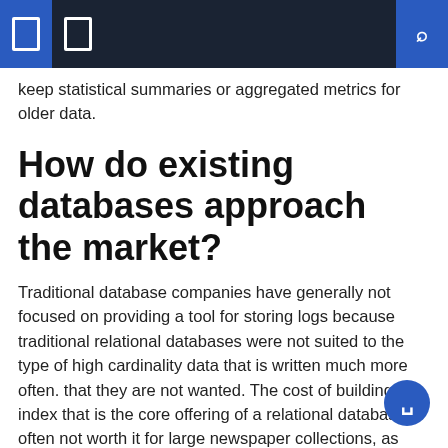keep statistical summaries or aggregated metrics for older data.
How do existing databases approach the market?
Traditional database companies have generally not focused on providing a tool for storing logs because traditional relational databases were not suited to the type of high cardinality data that is written much more often. that they are not wanted. The cost of building the index that is the core offering of a relational database is often not worth it for large newspaper collections, as there simply won't be enough JOINs out there. 'to come up. Time series and log databases tend to avoid using regular relational databases to store raw information, but they can store some of the statistical summaries generated along the way.